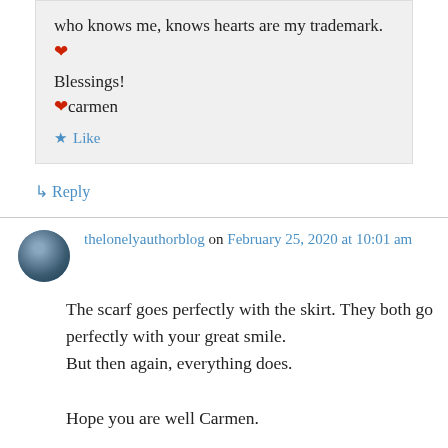who knows me, knows hearts are my trademark. ❤
Blessings!
❤carmen
★ Like
↳ Reply
thelonelyauthorblog on February 25, 2020 at 10:01 am
The scarf goes perfectly with the skirt. They both go perfectly with your great smile.
But then again, everything does.

Hope you are well Carmen.